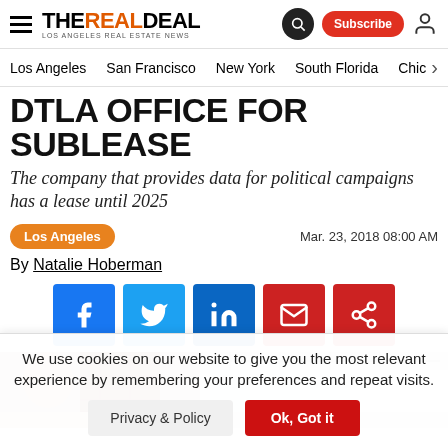THE REAL DEAL — LOS ANGELES REAL ESTATE NEWS
Los Angeles | San Francisco | New York | South Florida | Chicago
DTLA Office for Sublease
The company that provides data for political campaigns has a lease until 2025
Los Angeles   Mar. 23, 2018 08:00 AM
By Natalie Hoberman
[Figure (screenshot): Social share buttons: Facebook, Twitter, LinkedIn, Email, Share]
[Figure (photo): Interior office photo showing exposed brick and open ceiling]
We use cookies on our website to give you the most relevant experience by remembering your preferences and repeat visits.
Privacy & Policy   Ok, Got it